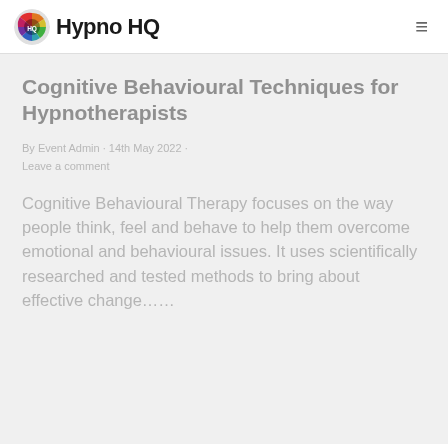HypnoHQ
Cognitive Behavioural Techniques for Hypnotherapists
By Event Admin · 14th May 2022 · Leave a comment
Cognitive Behavioural Therapy focuses on the way people think, feel and behave to help them overcome emotional and behavioural issues. It uses scientifically researched and tested methods to bring about effective change……